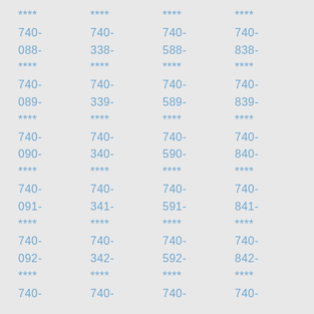A repeating grid of masked phone number fragments in four columns. Each entry shows: **** / 740- / NNN- / **** where NNN increments. Column 1: 088,089,090,091,092. Column 2: 338,339,340,341,342. Column 3: 588,589,590,591,592. Column 4: 838,839,840,841,842. Final row visible: 740-.